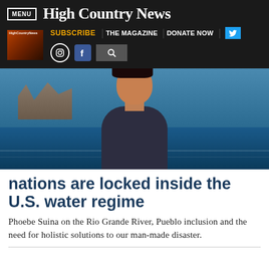High Country News
[Figure (photo): Portrait of Phoebe Suina standing outdoors near the Rio Grande River with blue water and rocky cliffs in the background. She wears a dark jacket and has dark hair.]
nations are locked inside the U.S. water regime
Phoebe Suina on the Rio Grande River, Pueblo inclusion and the need for holistic solutions to our man-made disaster.